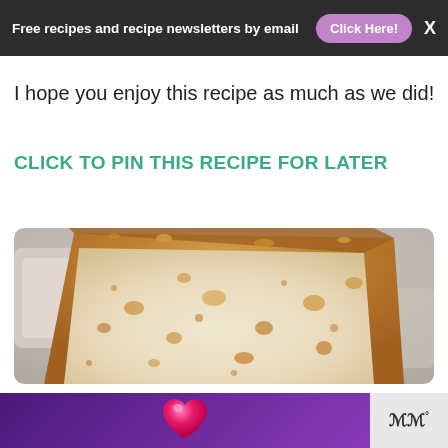Free recipes and recipe newsletters by email  Click Here!
I hope you enjoy this recipe as much as we did!
CLICK TO PIN THIS RECIPE FOR LATER
[Figure (photo): Close-up photo of a sliced loaf of cheese bread showing porous interior texture with golden cheese chunks, on a white plate with a coffee mug in the background.]
[Figure (other): Advertisement banner with purple gradient background featuring a pink heart icon and a logo watermark.]